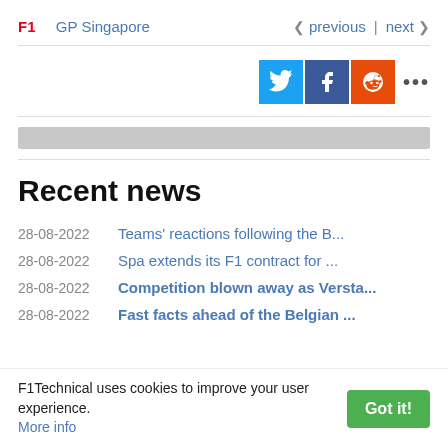F1  GP Singapore  ❮ previous | next ❯
[Figure (infographic): Social share buttons: Twitter (blue), Facebook (dark blue), Reddit (orange-red), and a more options (…) button]
Recent news
28-08-2022  Teams' reactions following the B...
28-08-2022  Spa extends its F1 contract for ...
28-08-2022  Competition blown away as Versta...
28-08-2022  Fast facts ahead of the Belgian ...
F1Technical uses cookies to improve your user experience. More info